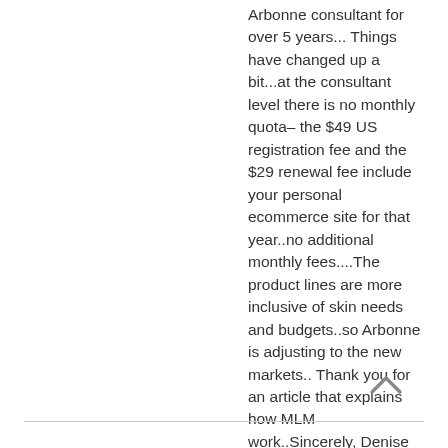Arbonne consultant for over 5 years...Things have changed up a bit...at the consultant level there is no monthly quota-
the $49 US registration fee and the $29 renewal fee include your personal ecommerce site for that year..no additional monthly fees....The product lines are more inclusive of skin needs and budgets..so Arbonne is adjusting to the new markets..
Thank you for an article that explains how MLM work..Sincerely, Denise